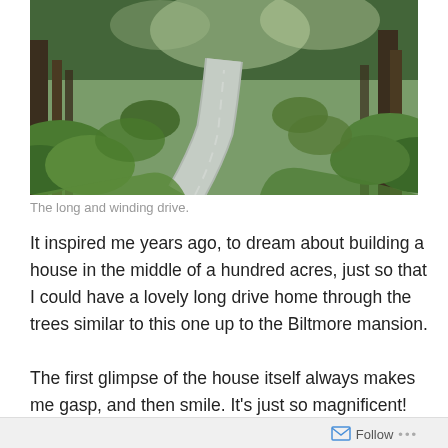[Figure (photo): A winding paved road through a lush green forested area with tall trees on both sides, leading into the distance.]
The long and winding drive.
It inspired me years ago, to dream about building a house in the middle of a hundred acres, just so that I could have a lovely long drive home through the trees similar to this one up to the Biltmore mansion.
The first glimpse of the house itself always makes me gasp, and then smile. It's just so magnificent! Not my style,